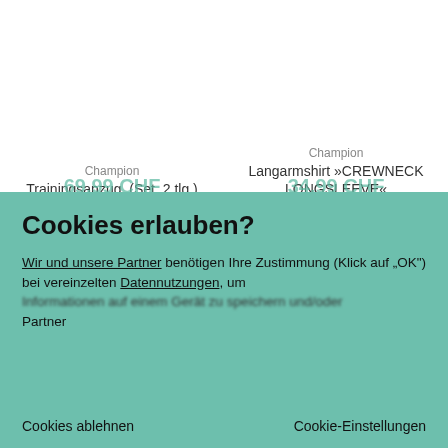Champion
Trainingsanzug, (Set, 2 tlg.)
Champion
Langarmshirt »CREWNECK LONGSLEEVE«
[Figure (screenshot): Cookie consent dialog overlay on a shopping website with teal/green background. Title: 'Cookies erlauben?' Body text references 'Wir und unsere Partner' (underlined) and 'Datennutzungen' (underlined). Contains an OK button (black) and footer links 'Cookies ablehnen' and 'Cookie-Einstellungen'.]
Cookies erlauben?
Wir und unsere Partner benötigen Ihre Zustimmung (Klick auf „OK") bei vereinzelten Datennutzungen, um Informationen auf einem Gerät zu speichern und/oder Partner
OK
Cookies ablehnen
Cookie-Einstellungen